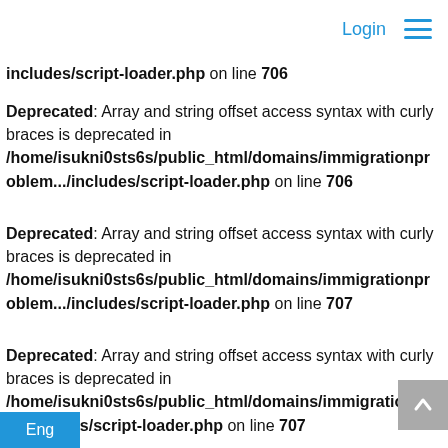Login ☰
includes/script-loader.php on line 706
Deprecated: Array and string offset access syntax with curly braces is deprecated in /home/isukni0sts6s/public_html/domains/immigrationproblem.../includes/script-loader.php on line 706
Deprecated: Array and string offset access syntax with curly braces is deprecated in /home/isukni0sts6s/public_html/domains/immigrationproblem.../includes/script-loader.php on line 707
Deprecated: Array and string offset access syntax with curly braces is deprecated in /home/isukni0sts6s/public_html/domains/immigrationproblem.../es/script-loader.php on line 707